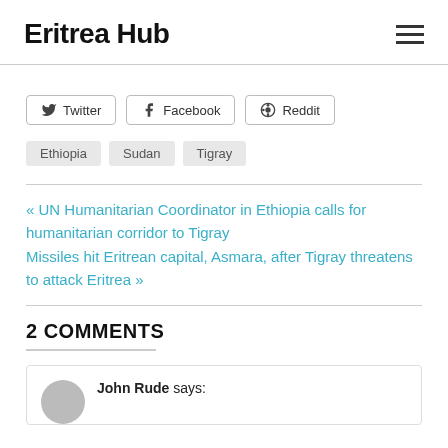Eritrea Hub
Twitter  Facebook  Reddit
Ethiopia  Sudan  Tigray
« UN Humanitarian Coordinator in Ethiopia calls for humanitarian corridor to Tigray
Missiles hit Eritrean capital, Asmara, after Tigray threatens to attack Eritrea »
2 COMMENTS
John Rude says: